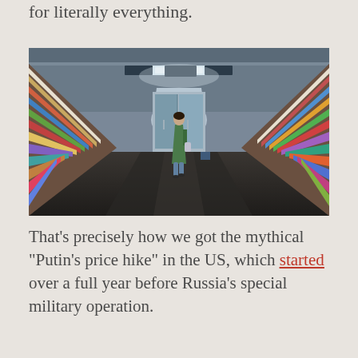for literally everything.
[Figure (photo): Interior of a grocery store aisle with shelves full of products on both sides, a person walking away in the center aisle, with refrigerators visible in the background.]
That's precisely how we got the mythical “Putin’s price hike” in the US, which started over a full year before Russia’s special military operation.